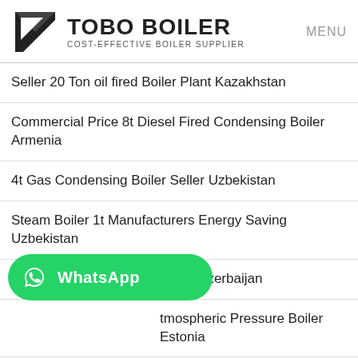[Figure (logo): Tobo Boiler logo with geometric arrow icon and text COST-EFFECTIVE BOILER SUPPLIER]
Seller 20 Ton oil fired Boiler Plant Kazakhstan
Commercial Price 8t Diesel Fired Condensing Boiler Armenia
4t Gas Condensing Boiler Seller Uzbekistan
Steam Boiler 1t Manufacturers Energy Saving Uzbekistan
Industrial Boiler 6 Ton Supplier Azerbaijan
tmospheric Pressure Boiler Estonia
[Figure (other): WhatsApp green button with phone icon and WhatsApp label]
UQK level controller float switch boiler water level